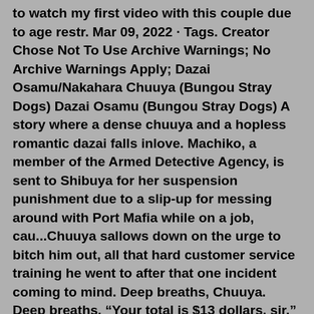to watch my first video with this couple due to age restr. Mar 09, 2022 · Tags. Creator Chose Not To Use Archive Warnings; No Archive Warnings Apply; Dazai Osamu/Nakahara Chuuya (Bungou Stray Dogs) Dazai Osamu (Bungou Stray Dogs) A story where a dense chuuya and a hopless romantic dazai falls inlove. Machiko, a member of the Armed Detective Agency, is sent to Shibuya for her suspension punishment due to a slip-up for messing around with Port Mafia while on a job, cau...Chuuya sallows down on the urge to bitch him out, all that hard customer service training he went to after that one incident coming to mind. Deep breaths, Chuuya. Deep breaths. “Your total is $13 dollars, sir.” Chuuya smiles bright and wide, eyes probably a bit too sharp and angry for a pleasant smile, but he holds the box out again. Jul 17, 2022 · As Chuuya started to move again , he heard a familiar shout of his name. From the person he loved and hated so much. It was Dazai, standing in front of the agency. Chuuya turned